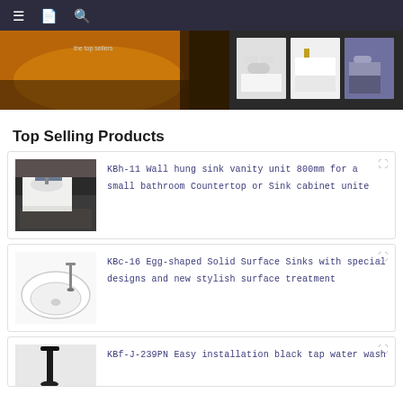Navigation bar with menu, catalog, and search icons
[Figure (photo): Hero banner showing bathroom products with a golden/orange bathtub on the left and three thumbnail images of bathroom vanity units on the right]
Top Selling Products
[Figure (photo): Photo of a wall-hung bathroom vanity unit with sink in a dark tiled bathroom]
KBh-11 Wall hung sink vanity unit 800mm for a small bathroom Countertop or Sink cabinet unite
[Figure (photo): Photo of an egg-shaped white solid surface sink basin on a white surface]
KBc-16 Egg-shaped Solid Surface Sinks with special designs and new stylish surface treatment
[Figure (photo): Photo of a black tap water wash fixture]
KBf-J-239PN Easy installation black tap water wash